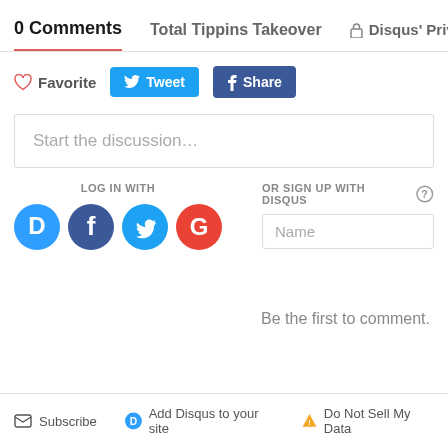0 Comments   Total Tippins Takeover   🔒 Disqus' Privacy P
♡ Favorite   🐦 Tweet   f Share
Start the discussion...
LOG IN WITH
OR SIGN UP WITH DISQUS ?
Name
Be the first to comment.
✉ Subscribe   D Add Disqus to your site   ▲ Do Not Sell My Data